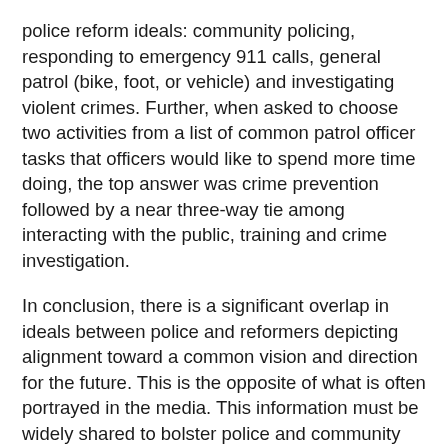police reform ideals: community policing, responding to emergency 911 calls, general patrol (bike, foot, or vehicle) and investigating violent crimes. Further, when asked to choose two activities from a list of common patrol officer tasks that officers would like to spend more time doing, the top answer was crime prevention followed by a near three-way tie among interacting with the public, training and crime investigation.
In conclusion, there is a significant overlap in ideals between police and reformers depicting alignment toward a common vision and direction for the future. This is the opposite of what is often portrayed in the media. This information must be widely shared to bolster police and community partnerships.
[WATCH: On-demand webinar: What cops want in 2021: Key findings from Police1's State of the Industry survey]